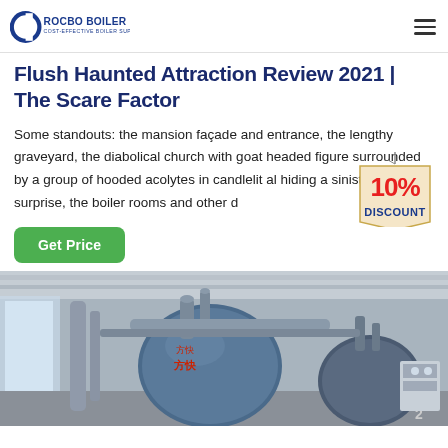ROCBO BOILER - COST-EFFECTIVE BOILER SUPPLIER
Flush Haunted Attraction Review 2021 | The Scare Factor
Some standouts: the mansion façade and entrance, the lengthy graveyard, the diabolical church with goat headed figure surrounded by a group of hooded acolytes in candlelit al hiding a sinister surprise, the boiler rooms and other d
[Figure (illustration): 10% DISCOUNT badge/tag illustration hanging from a string]
[Figure (photo): Industrial boiler room interior showing large blue cylindrical boilers with pipes and equipment in a factory setting]